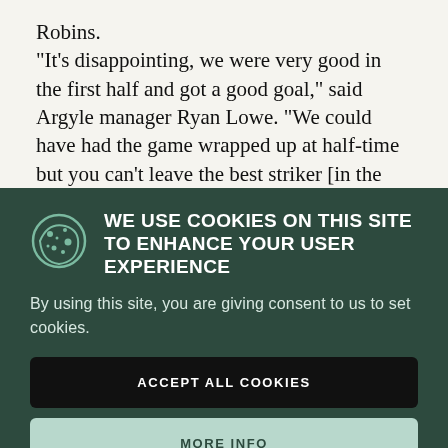Robins.
“It’s disappointing, we were very good in the first half and got a good goal,” said Argyle manager Ryan Lowe. “We could have had the game wrapped up at half-time but you can’t leave the best striker [in the division] alone in the box
[Figure (other): Cookie consent banner overlay on a dark green background. Contains a cookie icon, title 'WE USE COOKIES ON THIS SITE TO ENHANCE YOUR USER EXPERIENCE', body text 'By using this site, you are giving consent to us to set cookies.', an 'ACCEPT ALL COOKIES' button, and a 'MORE INFO' button.]